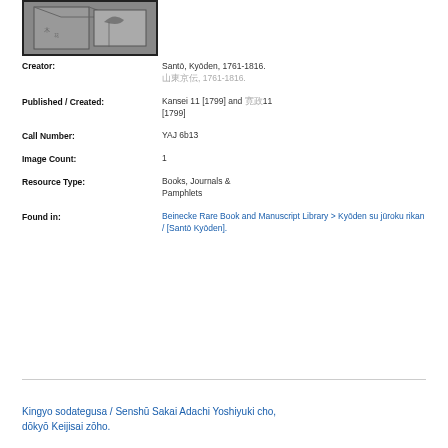[Figure (photo): Thumbnail image of a Japanese illustrated book page showing a bird and geometric/architectural elements]
Creator: Santō, Kyōden, 1761-1816. 山東京伝, 1761-1816.
Published / Created: Kansei 11 [1799] and 寛政11 [1799]
Call Number: YAJ 6b13
Image Count: 1
Resource Type: Books, Journals & Pamphlets
Found in: Beinecke Rare Book and Manuscript Library > Kyōden su jūroku rikan / [Santō Kyōden].
Kingyo sodategusa / Senshū Sakai Adachi Yoshiyuki cho, dōkyō Keijisai zōho.